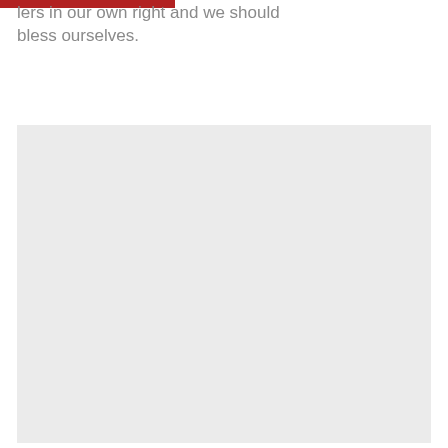lers in our own right and we should bless ourselves.
[Figure (photo): Large light gray rectangular image placeholder occupying the lower portion of the page]